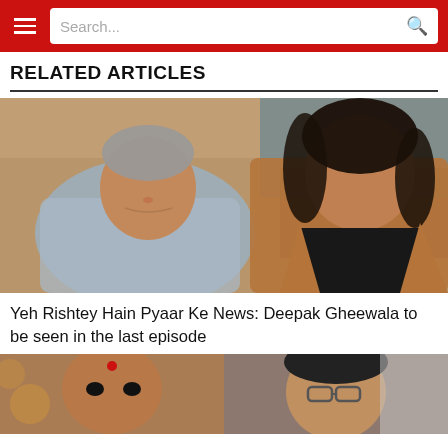Search...
RELATED ARTICLES
[Figure (photo): Two people posing together: an elderly woman in a grey-blue dupatta on the left, and a young man with long curly hair wearing a tan/brown jacket and black t-shirt on the right. Indoor setting with blurred background.]
Yeh Rishtey Hain Pyaar Ke News: Deepak Gheewala to be seen in the last episode
[Figure (photo): Partial view of two women: left woman in Indian dress with red bindi, right woman wearing glasses. Indoor setting with blurred background.]